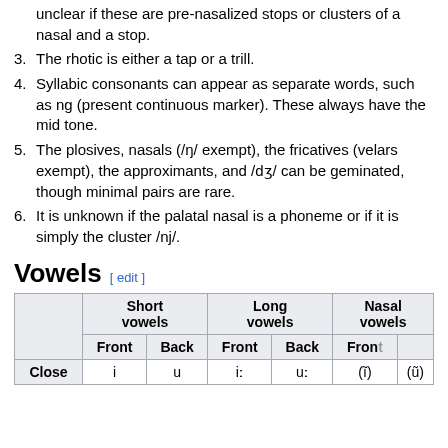unclear if these are pre-nasalized stops or clusters of a nasal and a stop.
3. The rhotic is either a tap or a trill.
4. Syllabic consonants can appear as separate words, such as ng (present continuous marker). These always have the mid tone.
5. The plosives, nasals (/ŋ/ exempt), the fricatives (velars exempt), the approximants, and /dʒ/ can be geminated, though minimal pairs are rare.
6. It is unknown if the palatal nasal is a phoneme or if it is simply the cluster /nj/.
Vowels
|  | Short vowels Front | Short vowels Back | Long vowels Front | Long vowels Back | Nasal vowels Front | Nasal vowels Back |
| --- | --- | --- | --- | --- | --- | --- |
| Close | i | u | iː | uː | (ĩ) | (ũ) |